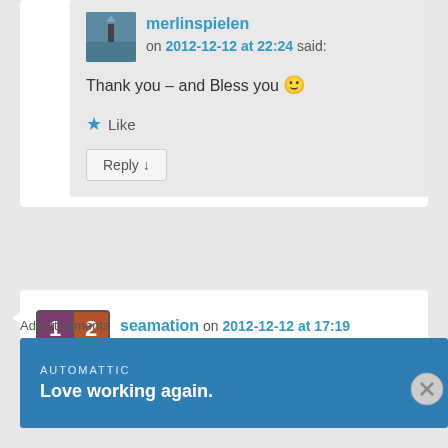merlinspielen on 2012-12-12 at 22:24 said:
Thank you – and Bless you 🙂
★ Like
Reply ↓
[Figure (illustration): Avatar image of seamation (2x2 numbered grid with colored squares: 1=purple, 2=brown-orange, 3=gold, 4=brown)]
seamation on 2012-12-12 at 17:19
Advertisements
AUTOMATTIC
Love working again.